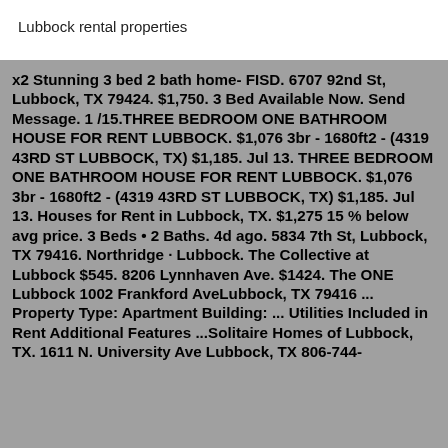Lubbock rental properties
x2 Stunning 3 bed 2 bath home- FISD. 6707 92nd St, Lubbock, TX 79424. $1,750. 3 Bed Available Now. Send Message. 1 /15.THREE BEDROOM ONE BATHROOM HOUSE FOR RENT LUBBOCK. $1,076 3br - 1680ft2 - (4319 43RD ST LUBBOCK, TX) $1,185. Jul 13. THREE BEDROOM ONE BATHROOM HOUSE FOR RENT LUBBOCK. $1,076 3br - 1680ft2 - (4319 43RD ST LUBBOCK, TX) $1,185. Jul 13. Houses for Rent in Lubbock, TX. $1,275 15 % below avg price. 3 Beds • 2 Baths. 4d ago. 5834 7th St, Lubbock, TX 79416. Northridge · Lubbock. The Collective at Lubbock $545. 8206 Lynnhaven Ave. $1424. The ONE Lubbock 1002 Frankford AveLubbock, TX 79416 ... Property Type: Apartment Building: ... Utilities Included in Rent Additional Features ...Solitaire Homes of Lubbock, TX. 1611 N. University Ave Lubbock, TX 806-744-